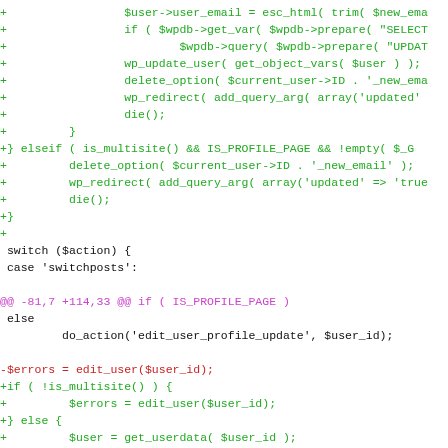[Figure (screenshot): A code diff view showing PHP code changes. Green lines prefixed with '+' show added code, red lines prefixed with '-' show removed code, magenta lines show diff hunk headers, and unmodified lines appear in black. The code relates to WordPress user profile update handling including multisite checks, email updates, and user data editing.]